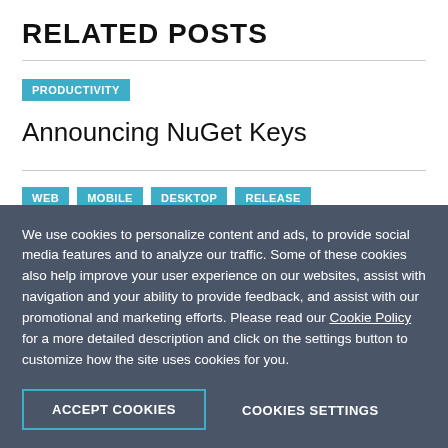RELATED POSTS
PRODUCTIVITY
Announcing NuGet Keys
WEB  MOBILE  DESKTOP  RELEASE
We use cookies to personalize content and ads, to provide social media features and to analyze our traffic. Some of these cookies also help improve your user experience on our websites, assist with navigation and your ability to provide feedback, and assist with our promotional and marketing efforts. Please read our Cookie Policy for a more detailed description and click on the settings button to customize how the site uses cookies for you.
ACCEPT COOKIES
COOKIES SETTINGS